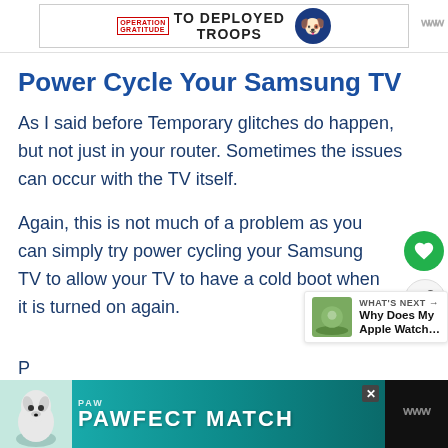[Figure (screenshot): Advertisement banner at top with Operation Gratitude logo and text 'TO DEPLOYED TROOPS' with cartoon dog character]
Power Cycle Your Samsung TV
As I said before Temporary glitches do happen, but not just in your router. Sometimes the issues can occur with the TV itself.
Again, this is not much of a problem as you can simply try power cycling your Samsung TV to allow your TV to have a cold boot when it is turned on again.
[Figure (screenshot): PAWFECT MATCH advertisement banner at bottom with white dog illustration on teal/dark background]
P